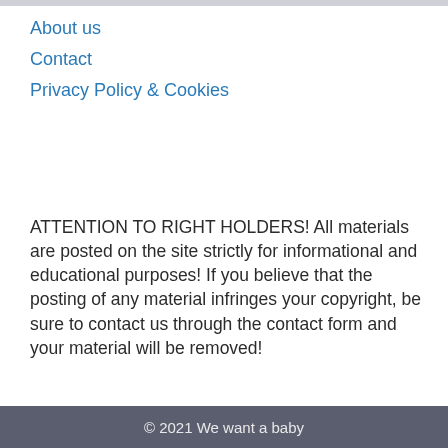About us
Contact
Privacy Policy & Cookies
ATTENTION TO RIGHT HOLDERS! All materials are posted on the site strictly for informational and educational purposes! If you believe that the posting of any material infringes your copyright, be sure to contact us through the contact form and your material will be removed!
© 2021 We want a baby